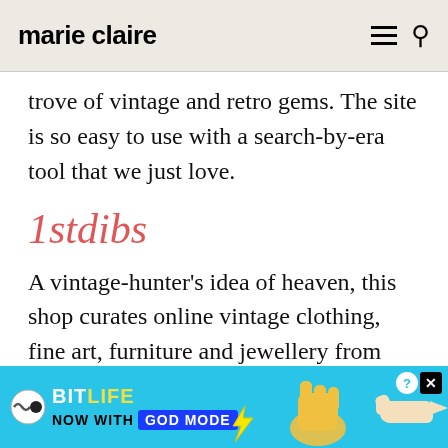marie claire
trove of vintage and retro gems. The site is so easy to use with a search-by-era tool that we just love.
1stdibs
A vintage-hunter's idea of heaven, this shop curates online vintage clothing, fine art, furniture and jewellery from across Europe and America. It's worth noting that it is mainly
[Figure (other): BitLife mobile game advertisement banner with 'NOW WITH GOD MODE' text and hand pointing graphic on blue background]